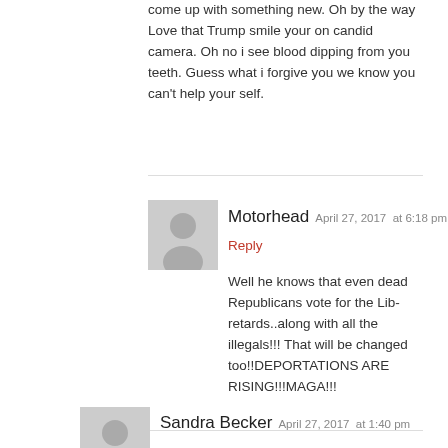come up with something new. Oh by the way Love that Trump smile your on candid camera. Oh no i see blood dipping from you teeth. Guess what i forgive you we know you can't help your self.
Motorhead  April 27, 2017  at 6:18 pm
Reply
Well he knows that even dead Republicans vote for the Lib-retards..along with all the illegals!!! That will be changed too!!DEPORTATIONS ARE RISING!!!MAGA!!!
Sandra Becker  April 27, 2017  at 1:40 pm